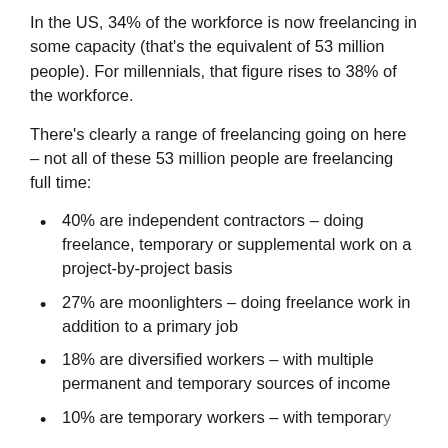In the US, 34% of the workforce is now freelancing in some capacity (that's the equivalent of 53 million people). For millennials, that figure rises to 38% of the workforce.
There's clearly a range of freelancing going on here – not all of these 53 million people are freelancing full time:
40% are independent contractors – doing freelance, temporary or supplemental work on a project-by-project basis
27% are moonlighters – doing freelance work in addition to a primary job
18% are diversified workers – with multiple permanent and temporary sources of income
10% are temporary workers – with temporary…